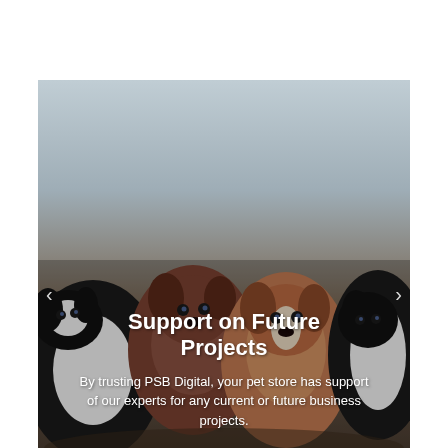[Figure (photo): A photo of four newborn puppies (Border Collies and other breeds) clustered together against a grey background. Text overlaid on the image reads 'Support on Future Projects' and 'By trusting PSB Digital, your pet store has support of our experts for any current or future business projects.' Navigation arrows are visible on the left and right sides.]
Support on Future Projects
By trusting PSB Digital, your pet store has support of our experts for any current or future business projects.